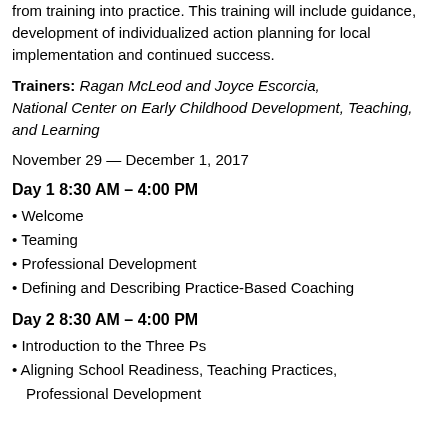from training into practice. This training will include guidance, development of individualized action planning for local implementation and continued success.
Trainers: Ragan McLeod and Joyce Escorcia, National Center on Early Childhood Development, Teaching, and Learning
November 29 — December 1, 2017
Day 1 8:30 AM – 4:00 PM
Welcome
Teaming
Professional Development
Defining and Describing Practice-Based Coaching
Day 2 8:30 AM – 4:00 PM
Introduction to the Three Ps
Aligning School Readiness, Teaching Practices, Professional Development